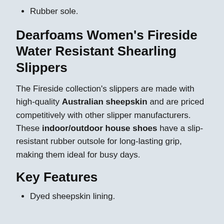Rubber sole.
Dearfoams Women's Fireside Water Resistant Shearling Slippers
The Fireside collection's slippers are made with high-quality Australian sheepskin and are priced competitively with other slipper manufacturers. These indoor/outdoor house shoes have a slip-resistant rubber outsole for long-lasting grip, making them ideal for busy days.
Key Features
Dyed sheepskin lining.